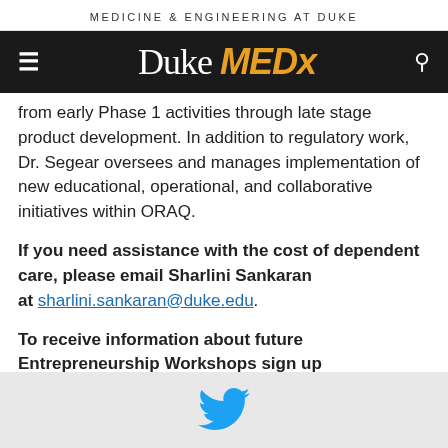MEDICINE & ENGINEERING AT DUKE
[Figure (logo): Duke MEDx logo on dark background with hamburger menu icon and search icon]
from early Phase 1 activities through late stage product development. In addition to regulatory work, Dr. Segear oversees and manages implementation of new educational, operational, and collaborative initiatives within ORAQ.
If you need assistance with the cost of dependent care, please email Sharlini Sankaran at sharlini.sankaran@duke.edu.
To receive information about future Entrepreneurship Workshops sign up at entrpreneursworkshop@duke.edu
[Figure (illustration): Twitter bird logo icon in blue]